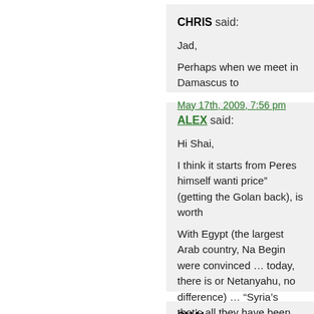CHRIS said:
Jad,
Perhaps when we meet in Damascus to
May 17th, 2009, 7:56 pm
ALEX said:
Hi Shai,
I think it starts from Peres himself wanti price" (getting the Golan back), is worth
With Egypt (the largest Arab country, Na Begin were convinced … today, there is or Netanyahu, no difference) … "Syria's that's all they have been talking about.
In contrast, Ifraim Halevy sounded conv
http://www.washingtonpost.com/wp-dyn/content/article/2007/11/09/AR20073
The rest are … boring.
I just can't see who in Israel will lead the
May 17th, 2009, 8:22 pm
SHAI said: